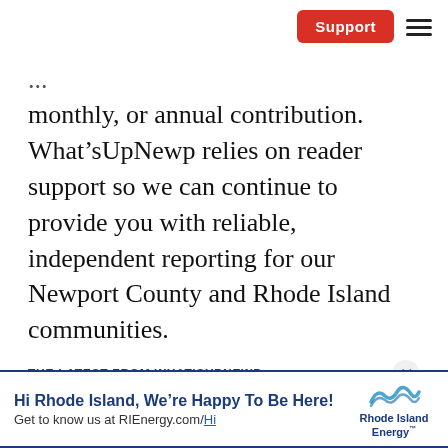Support [button] ≡ [menu]
monthly, or annual contribution. What'sUpNewp relies on reader support so we can continue to provide you with reliable, independent reporting for our Newport County and Rhode Island communities.
Support What'sUpNewp
THE LATEST FROM WHAT'SUPNEWP
Hi Rhode Island, We're Happy To Be Here! Get to know us at RIEnergy.com/Hi